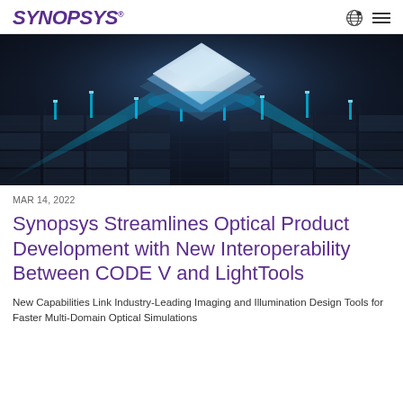SYNOPSYS
[Figure (illustration): 3D rendered image of a futuristic semiconductor chip with glowing blue light beams and circuit-board-like dark surface with blue illuminated pillars]
MAR 14, 2022
Synopsys Streamlines Optical Product Development with New Interoperability Between CODE V and LightTools
New Capabilities Link Industry-Leading Imaging and Illumination Design Tools for Faster Multi-Domain Optical Simulations